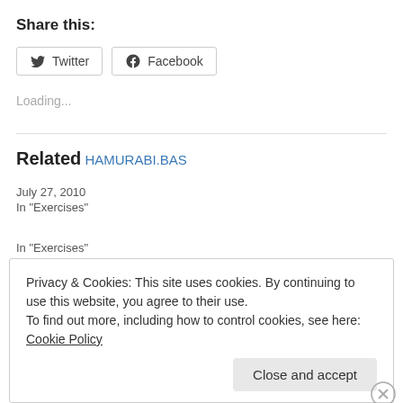Share this:
Twitter   Facebook
Loading...
Related
HAMURABI.BAS
July 27, 2010
In "Exercises"
Privacy & Cookies: This site uses cookies. By continuing to use this website, you agree to their use. To find out more, including how to control cookies, see here: Cookie Policy
Close and accept
In "Exercises"